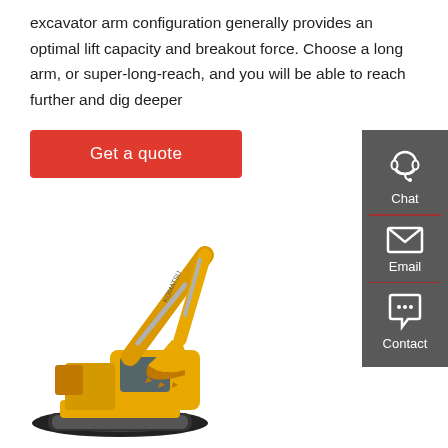excavator arm configuration generally provides an optimal lift capacity and breakout force. Choose a long arm, or super-long-reach, and you will be able to reach further and dig deeper
[Figure (other): Red 'Get a quote' button]
[Figure (other): Sidebar with Chat, Email, Contact icons on dark grey background]
[Figure (photo): Yellow Komatsu excavator with long reach arm, shown on white background]